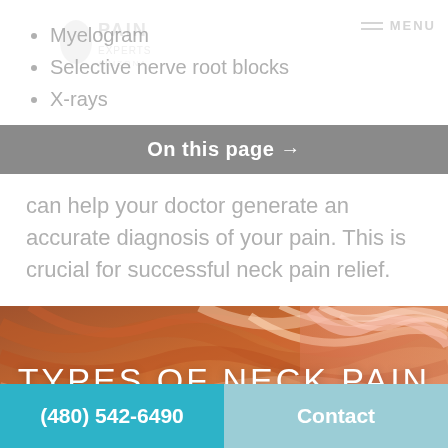Myelogram
Selective nerve root blocks
X-rays
On this page →
can help your doctor generate an accurate diagnosis of your pain. This is crucial for successful neck pain relief.
[Figure (photo): Close-up photo of hair or fibrous texture in warm reddish-brown and pink tones, used as section background]
TYPES OF NECK PAIN
(480) 542-6490    Contact